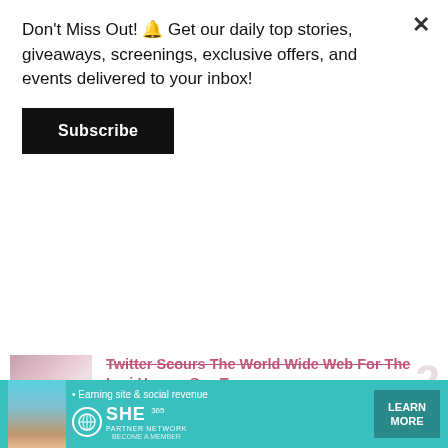Don't Miss Out! 🔔 Get our daily top stories, giveaways, screenings, exclusive offers, and events delivered to your inbox!
Subscribe
Twitter Scours The World Wide Web For The Lori Harvey Sex Tape — 18 Hours Ago
Twitter Expresses Concern For Orlando Brown After His Diddy Remarks — 1 Day Ago
Karlie Redd Promises To Stop Getting Lip ...
[Figure (infographic): SHE Media Partner Network advertisement banner with teal background, person photo, logo, tagline 'Earning site & social revenue', and 'LEARN MORE' button]